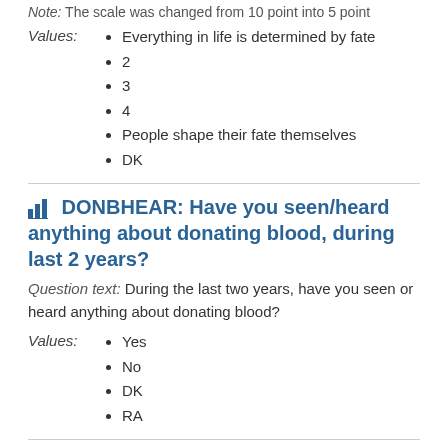Note: The scale was changed from 10 point into 5 point
Values:
Everything in life is determined by fate
2
3
4
People shape their fate themselves
DK
DONBHEAR: Have you seen/heard anything about donating blood, during last 2 years?
Question text: During the last two years, have you seen or heard anything about donating blood?
Values:
Yes
No
DK
RA
DONBEVER: Have you ever donated blood?
Question text: Have you ever donated blood?